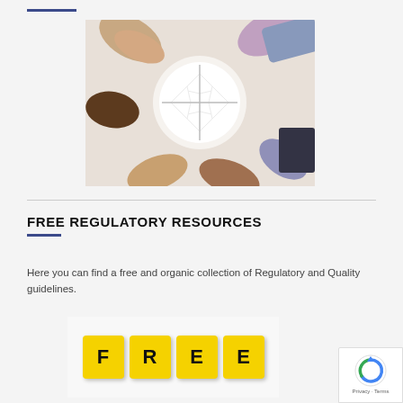[Figure (photo): Multiple diverse hands holding white puzzle pieces together in a circle from above, teamwork/collaboration concept photo]
FREE REGULATORY RESOURCES
Here you can find a free and organic collection of Regulatory and Quality guidelines.
[Figure (photo): Yellow alphabet blocks spelling FREE in bold black letters on a white background]